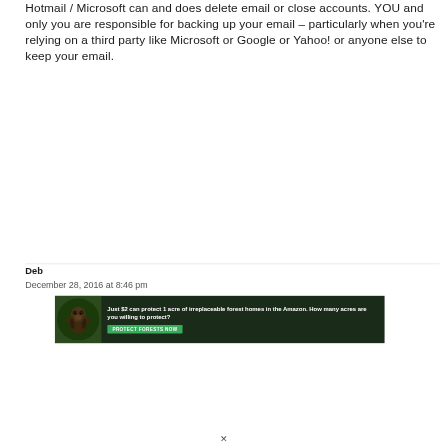Hotmail / Microsoft can and does delete email or close accounts. YOU and only you are responsible for backing up your email – particularly when you're relying on a third party like Microsoft or Google or Yahoo! or anyone else to keep your email.
Deb
December 28, 2016 at 8:46 pm
[Figure (other): Advertisement banner with dark forest background and primate/sloth imagery. Text reads: 'Just $2 can protect 1 acre of irreplaceable forest homes in the Amazon. How many acres are you willing to protect?' with a green 'PROTECT FORESTS NOW' button.]